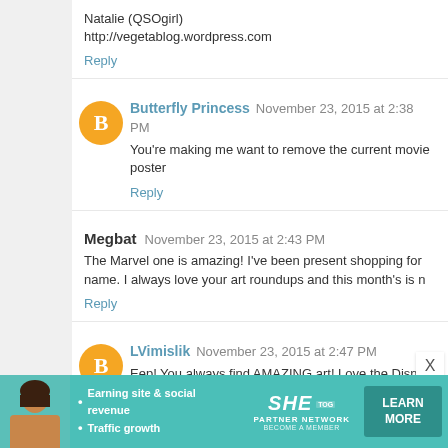Natalie (QSOgirl)
http://vegetablog.wordpress.com
Reply
Butterfly Princess   November 23, 2015 at 2:38 PM
You're making me want to remove the current movie poster
Reply
Megbat   November 23, 2015 at 2:43 PM
The Marvel one is amazing! I've been present shopping for name. I always love your art roundups and this month's is n
Reply
LVimislik   November 23, 2015 at 2:47 PM
Eep! You always find AMAZING art! Love the Disney sketc silhouette geeky prints...somehow, I don't think my poor bo I love both of those extra pieces, so I definitely wouldn't sa
Reply
[Figure (infographic): SHE Partner Network advertisement banner with learn more button]